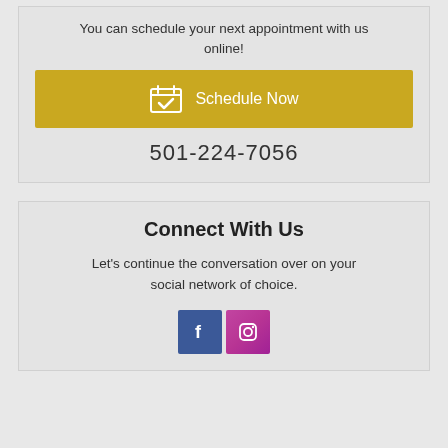You can schedule your next appointment with us online!
[Figure (other): Golden/yellow button with calendar icon and text 'Schedule Now']
501-224-7056
Connect With Us
Let's continue the conversation over on your social network of choice.
[Figure (other): Facebook and Instagram social media icon buttons]